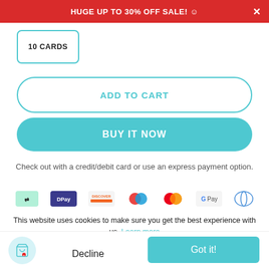HUGE UP TO 30% OFF SALE! ☺
10 CARDS
ADD TO CART
BUY IT NOW
Check out with a credit/debit card or use an express payment option.
[Figure (infographic): Row of payment method icons: Afterpay, DPay, Discover, two overlapping red/blue circles (Mastercard-like), Mastercard, Google Pay, Diners Club]
This website uses cookies to make sure you get the best experience with us. Learn more
Decline
Got it!